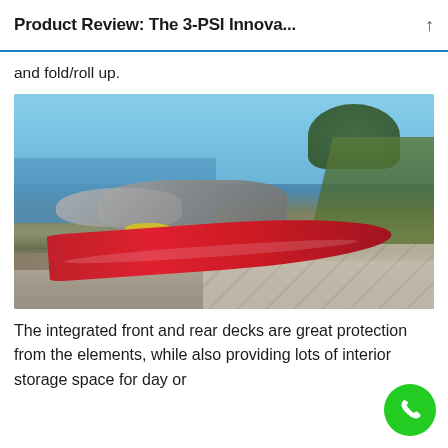Product Review: The 3-PSI Innova...
and fold/roll up.
[Figure (photo): A red kayak resting on a paved/graveled shore next to a body of water, with rocks and green vegetation in the background and a yellow gear bag nearby.]
The integrated front and rear decks are great protection from the elements, while also providing lots of interior storage space for day or